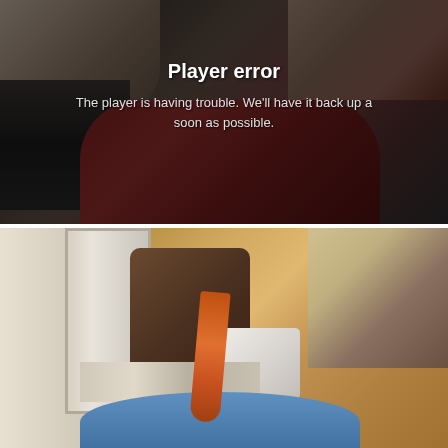[Figure (screenshot): Video player error screen showing a dark still frame of a person in a red/maroon sweater in a kitchen setting, with a white text overlay displaying a player error message in the center-right area.]
Player error
The player is having trouble. We'll have it back up as soon as possible.
[Figure (photo): A kitchen scene photograph taken from a low angle showing a food item (orange carrot or similar) in the foreground on a blue plate, with white cabinets on the left, a dark wooden chair in the background, white mugs and product bottles on a counter, and a mirror on the left wall.]